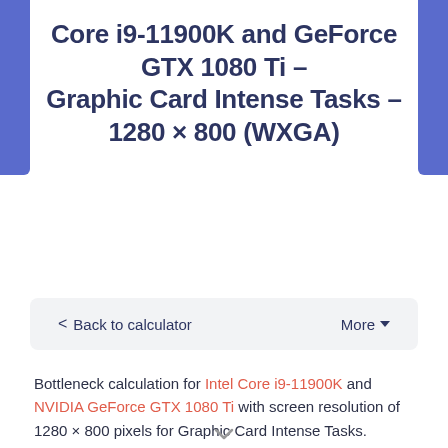Core i9-11900K and GeForce GTX 1080 Ti – Graphic Card Intense Tasks – 1280 × 800 (WXGA)
< Back to calculator   More ▾
Bottleneck calculation for Intel Core i9-11900K and NVIDIA GeForce GTX 1080 Ti with screen resolution of 1280 × 800 pixels for Graphic Card Intense Tasks.